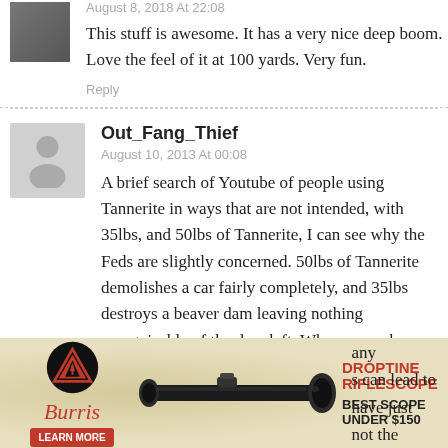August 8, 2018 At 22:08
This stuff is awesome. It has a very nice deep boom. Love the feel of it at 100 yards. Very fun.
Reply
Out_Fang_Thief
August 10, 2013 At 00:08
A brief search of Youtube of people using Tannerite in ways that are not intended, with 35lbs, and 50lbs of Tannerite, I can see why the Feds are slightly concerned. 50lbs of Tannerite demolishes a car fairly completely, and 35lbs destroys a beaver dam leaving nothing recognizable of the dam left. When properly used, Tannerite is a good, and ... any ... s can lead to ... have just ... not the
[Figure (infographic): Burris Droptine Riflescope advertisement banner. Shows Burris logo (red triangle with arrow), italic red 'Burris' brand text, red 'LEARN MORE' button, image of riflescope, red 'DROPTINE RIFLESCOPE' headline, and 'BEST SCOPE UNDER $150' tagline.]